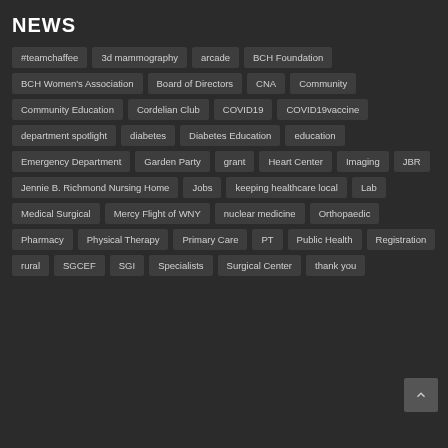NEWS
#teamchaffee
3d mammography
arcade
BCH Foundation
BCH Women's Association
Board of Directors
CNA
Community
Community Education
Cordelian Club
COVID19
COVID19vaccine
department spotlight
diabetes
Diabetes Education
education
Emergency Department
Garden Party
grant
Heart Center
Imaging
JBR
Jennie B. Richmond Nursing Home
Jobs
keeping healthcare local
Lab
Medical Surgical
Mercy Flight of WNY
nuclear medicine
Orthopaedic
Pharmacy
Physical Therapy
Primary Care
PT
Public Health
Registration
rural
SGCEF
SGI
Specialists
Surgical Center
thank you